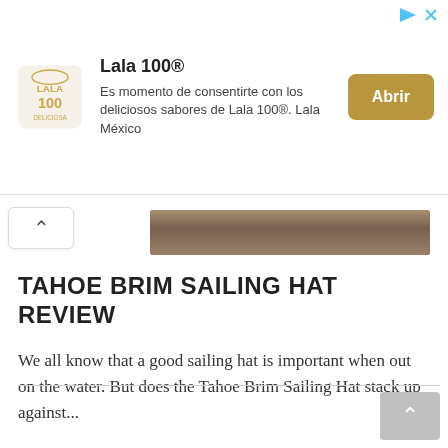[Figure (screenshot): Advertisement banner for Lala 100 with logo, Spanish description text, and golden 'Abrir' button]
[Figure (photo): Partial image strip showing what appears to be a hat or fabric surface in brown/tan tones]
TAHOE BRIM SAILING HAT REVIEW
We all know that a good sailing hat is important when out on the water. But does the Tahoe Brim Sailing Hat stack up against...
Read More >>